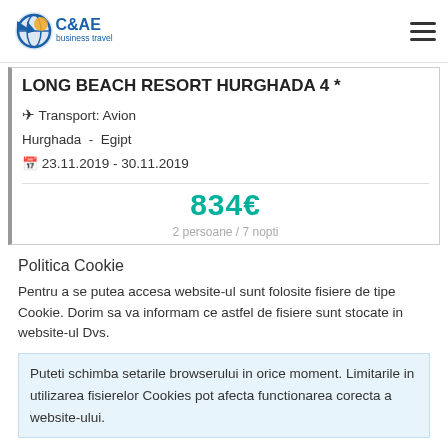C&AE business travel
LONG BEACH RESORT HURGHADA 4 *
✈ Transport: Avion
Hurghada - Egipt
📅 23.11.2019 - 30.11.2019
834€
2 persoane / 7 nopti
Politica Cookie
Pentru a se putea accesa website-ul sunt folosite fisiere de tipe Cookie. Dorim sa va informam ce astfel de fisiere sunt stocate in website-ul Dvs.
Puteti schimba setarile browserului in orice moment. Limitarile in utilizarea fisierelor Cookies pot afecta functionarea corecta a website-ului.
Sunt de acord | Dissallow cookies